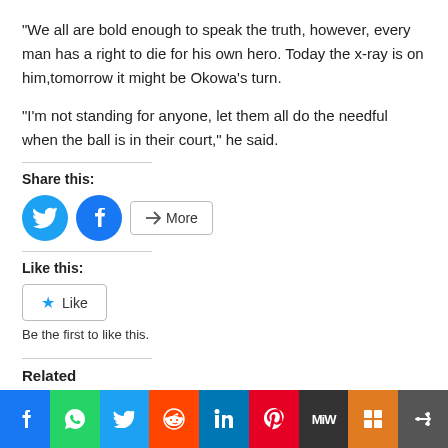"We all are bold enough to speak the truth, however, every man has a right to die for his own hero. Today the x-ray is on him,tomorrow it might be Okowa's turn.
"I'm not standing for anyone, let them all do the needful when the ball is in their court," he said.
Share this:
[Figure (infographic): Twitter and Facebook share buttons, plus a More button]
Like this:
[Figure (infographic): Like button with star icon]
Be the first to like this.
Related
[Figure (infographic): Social sharing bar at bottom: Facebook, WhatsApp, Twitter, Reddit, LinkedIn, Pinterest, MeWe, Mix, Share buttons]